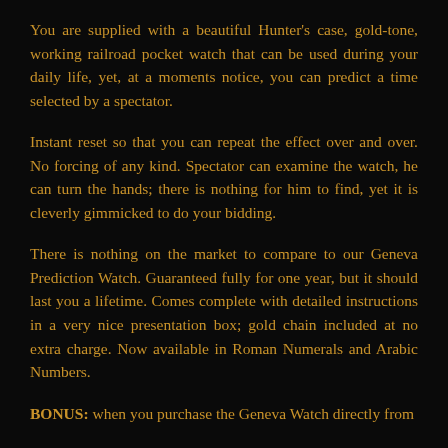You are supplied with a beautiful Hunter's case, gold-tone, working railroad pocket watch that can be used during your daily life, yet, at a moments notice, you can predict a time selected by a spectator.
Instant reset so that you can repeat the effect over and over. No forcing of any kind. Spectator can examine the watch, he can turn the hands; there is nothing for him to find, yet it is cleverly gimmicked to do your bidding.
There is nothing on the market to compare to our Geneva Prediction Watch. Guaranteed fully for one year, but it should last you a lifetime. Comes complete with detailed instructions in a very nice presentation box; gold chain included at no extra charge. Now available in Roman Numerals and Arabic Numbers.
BONUS: when you purchase the Geneva Watch directly from